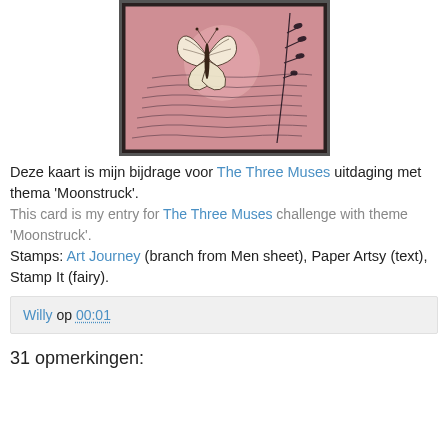[Figure (photo): A handmade art card with a pink/rose textured background featuring a butterfly, a circular moon shape, cursive script text overlay, and dark botanical branch elements.]
Deze kaart is mijn bijdrage voor The Three Muses uitdaging met thema 'Moonstruck'.
This card is my entry for The Three Muses challenge with theme 'Moonstruck'.
Stamps: Art Journey (branch from Men sheet), Paper Artsy (text), Stamp It (fairy).
Willy op 00:01
31 opmerkingen: